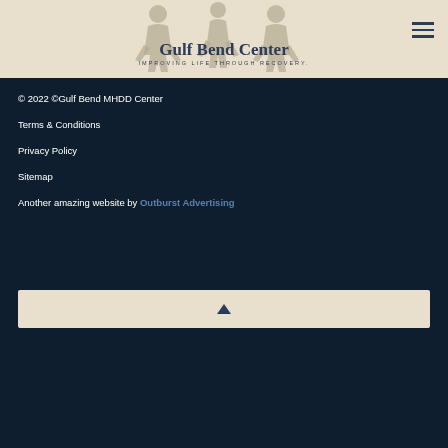[Figure (logo): Gulf Bend Center logo with silhouette figures and text 'Gulf Bend Center — Improving Life Through Recovery.' on a beige/tan background]
© 2022 ©Gulf Bend MHDD Center
Terms & Conditions
Privacy Policy
Sitemap
Another amazing website by Outburst Advertising